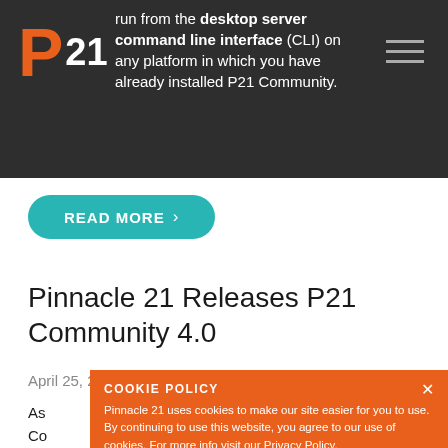run from the desktop server command line interface (CLI) on any platform in which you have already installed P21 Community.
[Figure (logo): P21 logo with orange P and white 21]
READ MORE
Pinnacle 21 Releases P21 Community 4.0
April 25, 2022
As ... Community ... w fro...
P2... ion
COOKIE POLICY
Pinnacle 21 uses cookies to make our site easier for you to use. By continuing to use this website, you agree to our use of cookies. For more info visit our Privacy Policy.
I AGREE